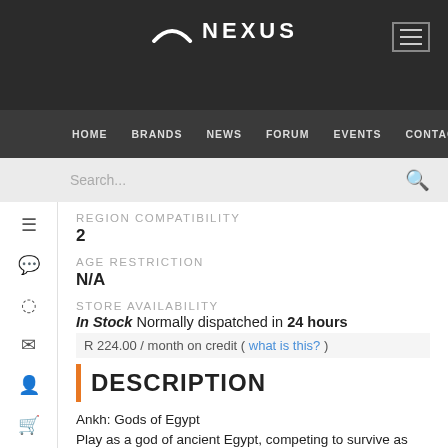NEXUS
HOME  BRANDS  NEWS  FORUM  EVENTS  CONTACT US
REGION COMPATIBILITY
2
AGE RESTRICTION
N/A
STORE AVAILABILITY
In Stock Normally dispatched in 24 hours
R 224.00 / month on credit ( what is this? )
DESCRIPTION
Ankh: Gods of Egypt
Play as a god of ancient Egypt, competing to survive as society begins to forget the old ways, so that only you